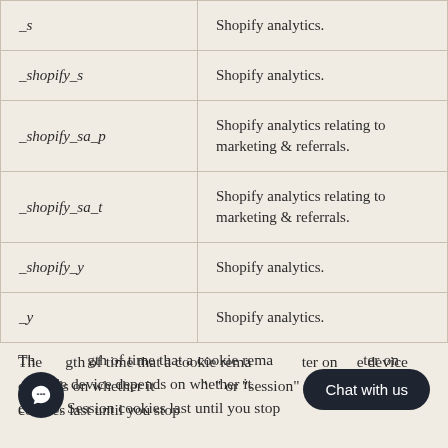| Cookie | Description |
| --- | --- |
| _s | Shopify analytics. |
| _shopify_s | Shopify analytics. |
| _shopify_sa_p | Shopify analytics relating to marketing & referrals. |
| _shopify_sa_t | Shopify analytics relating to marketing & referrals. |
| _shopify_y | Shopify analytics. |
| _y | Shopify analytics. |
The length of time that a cookie remains on your computer or mobile device depends on whether it is a "persistent" or "session" cookie. Session cookies last until you stop